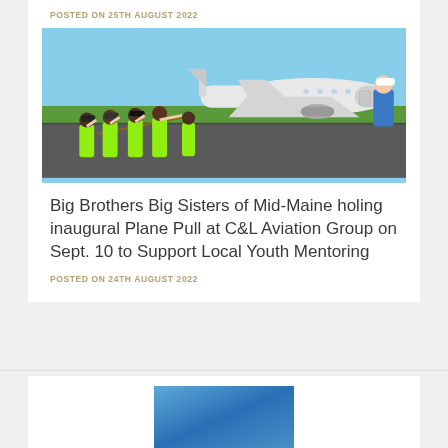POSTED ON 25TH AUGUST 2022
[Figure (photo): Group of people in bright green/yellow t-shirts pulling a rope attached to a small white private jet aircraft on an airport tarmac, with clear blue sky in the background. A person in a blue shirt and white cap stands on the right side near the plane.]
Big Brothers Big Sisters of Mid-Maine holing inaugural Plane Pull at C&L Aviation Group on Sept. 10 to Support Local Youth Mentoring
POSTED ON 24TH AUGUST 2022
[Figure (photo): Partial view of an image with a blue gradient background, partially visible at the bottom of the page.]